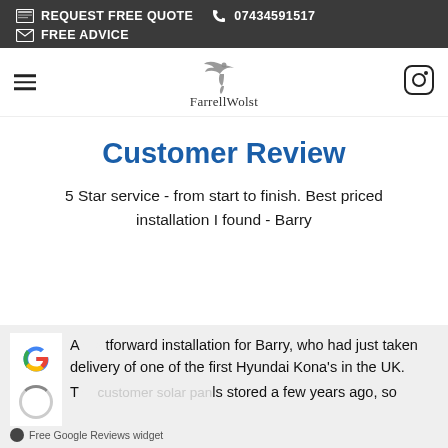REQUEST FREE QUOTE  07434591517  FREE ADVICE
[Figure (logo): FarrellWolst logo with bird illustration and text]
Customer Review
5 Star service - from start to finish. Best priced installation I found - Barry
A straightforward installation for Barry, who had just taken delivery of one of the first Hyundai Kona's in the UK. T... customers solar panels stored a few years ago, so the Zap... Free Google Reviews widget
[Figure (logo): Google G logo and loading spinner with Free Google Reviews widget label]